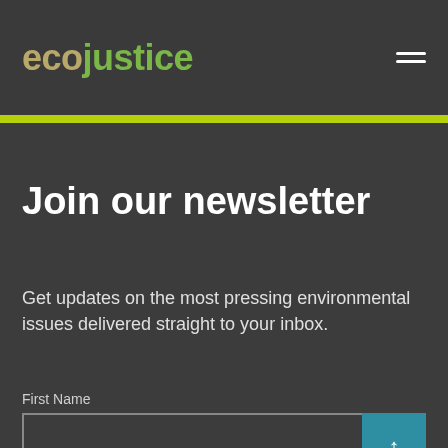ecojustice
Join our newsletter
Get updates on the most pressing environmental issues delivered straight to your inbox.
First Name